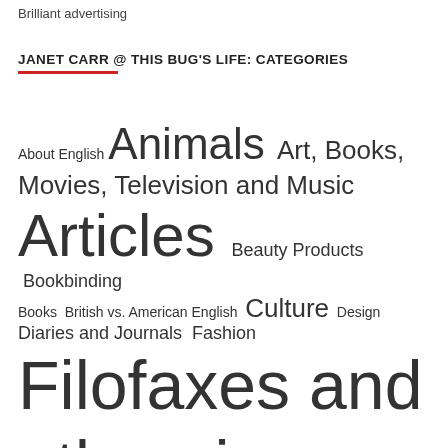Brilliant advertising
JANET CARR @ THIS BUG'S LIFE: CATEGORIES
About English Animals Art, Books, Movies, Television and Music Articles Beauty Products Bookbinding Books British vs. American English Culture Design Diaries and Journals Fashion Filofaxes and other ring organisers Filofax of the Day (FOTD)